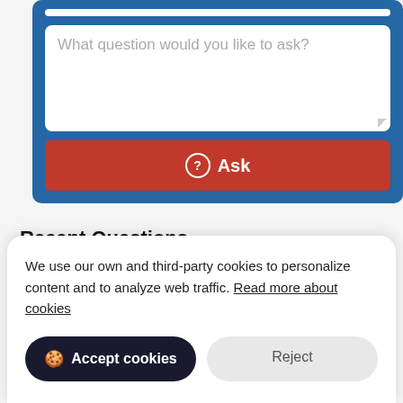[Figure (screenshot): Blue form box with textarea placeholder 'What question would you like to ask?' and a red Ask button]
Recent Questions
Where Is the Fuel Pump Relay on a 1996 Chevy Blazer?
Can You Substitute Asparagous for Green Beans?
We use our own and third-party cookies to personalize content and to analyze web traffic. Read more about cookies
Accept cookies
Reject